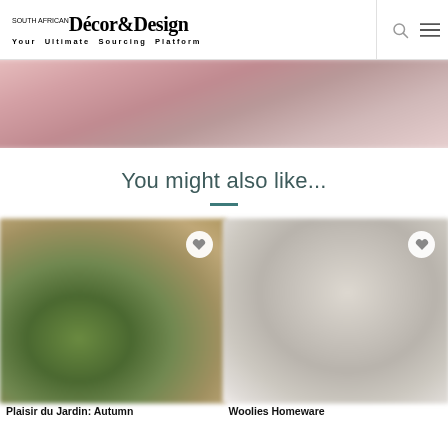Décor&Design — Your Ultimate Sourcing Platform
[Figure (photo): Blurred decorative image strip with warm pink and dusty rose tones at the top of the page]
You might also like...
[Figure (photo): Blurred outdoor garden or autumn scene with green and brown tones, card for 'Plaisir du Jardin: Autumn', with a heart/favourite button]
[Figure (photo): Blurred interior homeware image with soft beige and grey tones, card for 'Woolies Homeware', with a heart/favourite button]
Plaisir du Jardin: Autumn
Woolies Homeware